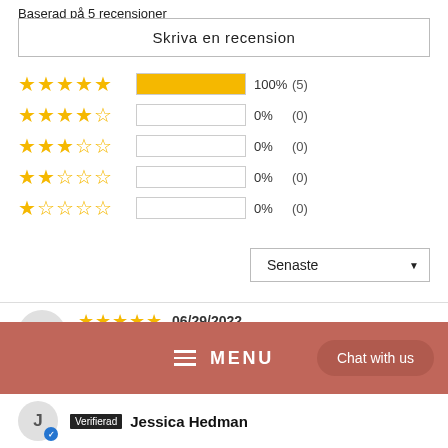Baserad på 5 recensioner
Skriva en recension
[Figure (infographic): Star rating distribution: 5 stars 100% (5), 4 stars 0% (0), 3 stars 0% (0), 2 stars 0% (0), 1 star 0% (0)]
Senaste ▼
★★★★★ 06/29/2022 Verifierad Jessica Jonsson
≡ MENU  Chat with us
Verifierad Jessica Hedman